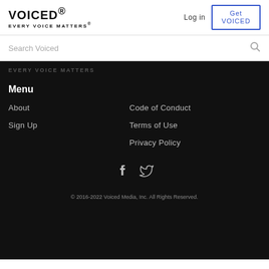VOICED® EVERY VOICE MATTERS®
Log in
Get VOICED
Search Voiced
EVERY VOICE MATTERS
Menu
About
Code of Conduct
Sign Up
Terms of Use
Privacy Policy
[Figure (other): Facebook and Twitter social media icons]
© 2016-2022 Voiced Media, Inc. All Rights Reserved.